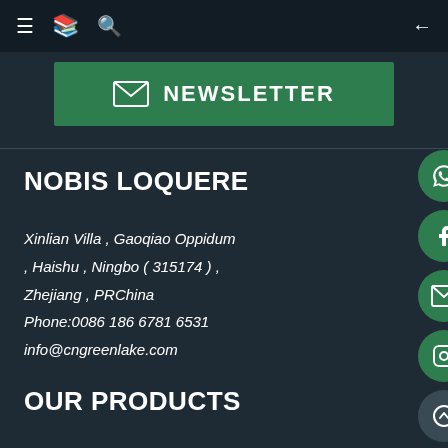Navigation bar with menu, translate, search and back icons
[Figure (infographic): Green newsletter banner with envelope icon and NEWSLETTER text]
NOBIS LOQUERE
Xinlian Villa , Gaoqiao Oppidum , Haishu , Ningbo ( 315174 ) , Zhejiang , PRChina
Phone:0086 186 6781 6531
info@cngreenlake.com
OUR PRODUCTS